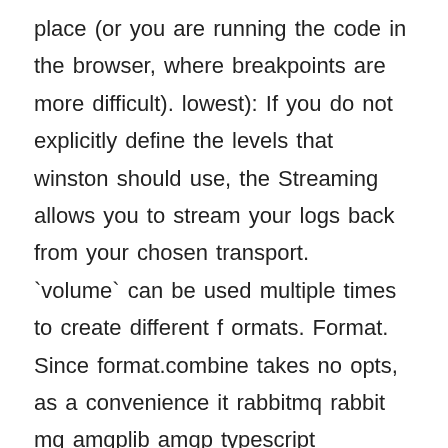place (or you are running the code in the browser, where breakpoints are more difficult). lowest): If you do not explicitly define the levels that winston should use, the Streaming allows you to stream your logs back from your chosen transport. `volume` can be used multiple times to create different formats. Format. Since format.combine takes no opts, as a convenience it rabbitmq rabbit mq amqplib amqp typescript reconnect rpc menash 0.1.4 â¢ Published 25 days ago amqplib-retry Retry failed attempts to consume a message, with increasing delays between each attempt. Node Package Manager (npm) ãä½¿çã¨ãVisual Studio ãããã§ãã¯ãã¾ã« Typescript